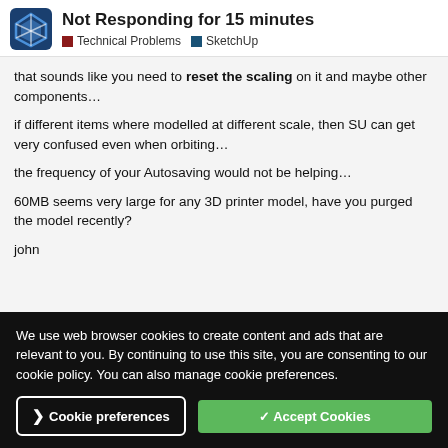Not Responding for 15 minutes | Technical Problems | SketchUp
that sounds like you need to reset the scaling on it and maybe other components…
if different items where modelled at different scale, then SU can get very confused even when orbiting…
the frequency of your Autosaving would not be helping…
60MB seems very large for any 3D printer model, have you purged the model recently?
john
We use web browser cookies to create content and ads that are relevant to you. By continuing to use this site, you are consenting to our cookie policy. You can also manage cookie preferences.